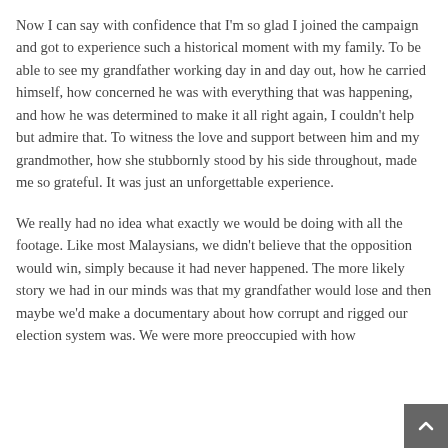Now I can say with confidence that I'm so glad I joined the campaign and got to experience such a historical moment with my family. To be able to see my grandfather working day in and day out, how he carried himself, how concerned he was with everything that was happening, and how he was determined to make it all right again, I couldn't help but admire that. To witness the love and support between him and my grandmother, how she stubbornly stood by his side throughout, made me so grateful. It was just an unforgettable experience.
We really had no idea what exactly we would be doing with all the footage. Like most Malaysians, we didn't believe that the opposition would win, simply because it had never happened. The more likely story we had in our minds was that my grandfather would lose and then maybe we'd make a documentary about how corrupt and rigged our election system was. We were more preoccupied with how...